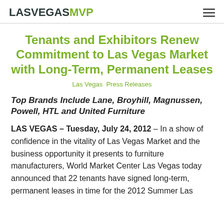LASVEGASMVP
Tenants and Exhibitors Renew Commitment to Las Vegas Market with Long-Term, Permanent Leases
Las Vegas  Press Releases
Top Brands Include Lane, Broyhill, Magnussen, Powell, HTL and United Furniture
LAS VEGAS – Tuesday, July 24, 2012 – In a show of confidence in the vitality of Las Vegas Market and the business opportunity it presents to furniture manufacturers, World Market Center Las Vegas today announced that 22 tenants have signed long-term, permanent leases in time for the 2012 Summer Las